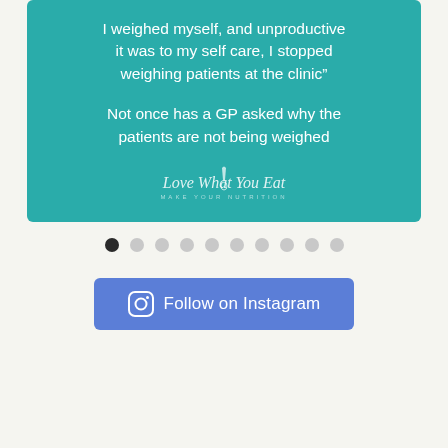[Figure (screenshot): Teal/turquoise slide card with white text quote: 'I weighed myself, and unproductive it was to my self care, I stopped weighing patients at the clinic”' followed by 'Not once has a GP asked why the patients are not being weighed' and a 'Love What You Eat' logo at the bottom]
Dot navigation indicators (10 dots, first one active/filled dark)
Follow on Instagram